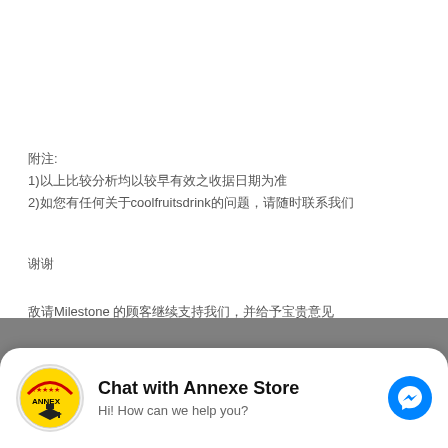附注:
1)以上比较分析均以较早有效之收据日期为准
2)如您有任何关于coolfruitsdrink的问题，请随时联系我们
谢谢
敬请Milestone 的顾客继续支持我们，并给予宝贵意见
This website uses cookies. By continuing to use this site, you accept our use of cookies.
[Figure (screenshot): Chat with Annexe Store widget showing logo with ANNEX text, stars rating, graduation cap icon, chat title 'Chat with Annexe Store', subtitle 'Hi! How can we help you?', and Messenger icon]